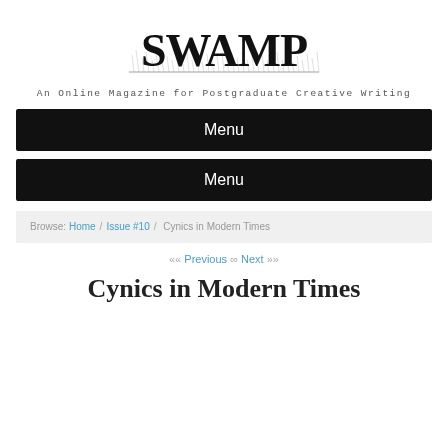[Figure (logo): SWAMP magazine logo with stylized handwritten text and grass illustration]
An Online Magazine for Postgraduate Creative Writing
Menu
Menu
Browse: Home / Issue #10 / Cynics in Modern Times
«« Previous ∞ Next »»
Cynics in Modern Times